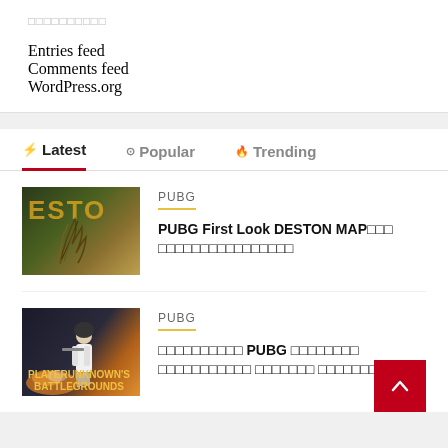□□□□□□□□□□
Entries feed
Comments feed
WordPress.org
⚡ Latest   ⊙ Popular   🔥 Trending
[Figure (photo): PUBG DESTON map promotional image with golden text and feather/plant imagery]
PUBG
PUBG First Look DESTON MAP□□□ □□□□□□□□□□□□□□□□
[Figure (photo): PUBG Battlegrounds game cover with soldier and explosion]
PUBG
□□□□□□□□□□ PUBG □□□□□□□□ □□□□□□□□□□□ □□□□□□□ □□□□□□□□□□□